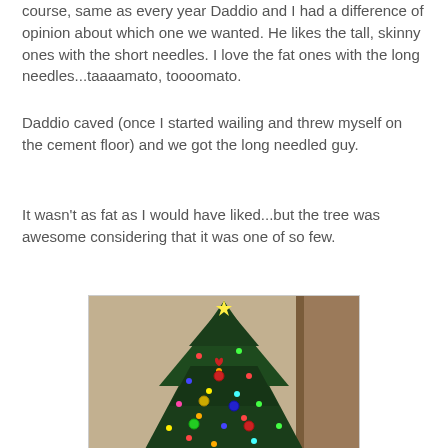course, same as every year Daddio and I had a difference of opinion about which one we wanted. He likes the tall, skinny ones with the short needles. I love the fat ones with the long needles...taaaamato, toooomato.
Daddio caved (once I started wailing and threw myself on the cement floor) and we got the long needled guy.
It wasn't as fat as I would have liked...but the tree was awesome considering that it was one of so few.
[Figure (photo): A decorated Christmas tree with colorful lights and ornaments, photographed indoors against a tan/beige wall with a wooden door frame visible to the right.]